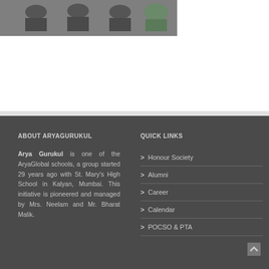[Figure (photo): Group photo of students in school uniforms, sitting/standing outdoors]
ABOUT ARYAGURUKUL
Arya Gurukul is one of the AryaGlobal schools, a group started 29 years ago with St. Mary's High School in Kalyan, Mumbai. This initiative is pioneered and managed by Mrs. Neelam and Mr. Bharat Malik.
QUICK LINKS
Honour Society
Alumni
Career
Calendar
POCSO & PTA